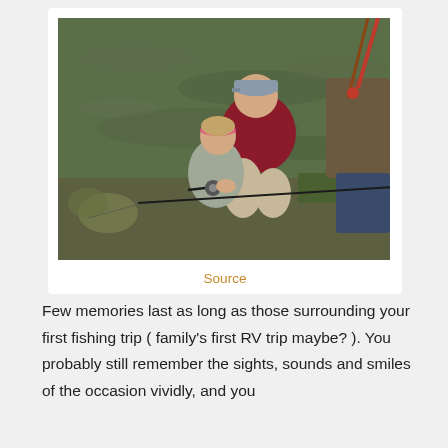[Figure (photo): A man in a maroon hoodie and grey cap crouches behind a young girl with a pink headband, helping her hold a fishing rod at the edge of a river. Another person in camouflage stands to the right. Fishing rods are visible in the background.]
Source
Few memories last as long as those surrounding your first fishing trip ( family's first RV trip maybe? ). You probably still remember the sights, sounds and smiles of the occasion vividly, and you